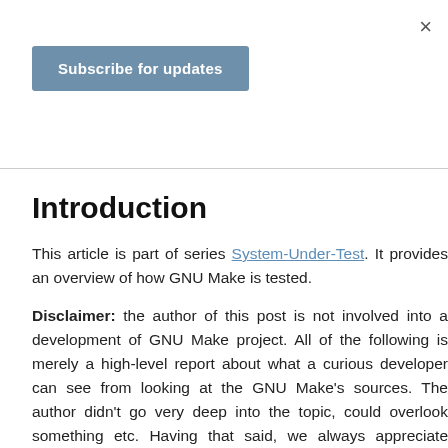[Figure (other): Close button (×) in upper right corner of modal overlay]
[Figure (other): Blue 'Subscribe for updates' button]
Introduction
This article is part of series System-Under-Test. It provides an overview of how GNU Make is tested.
Disclaimer: the author of this post is not involved into a development of GNU Make project. All of the following is merely a high-level report about what a curious developer can see from looking at the GNU Make's sources. The author didn't go very deep into the topic, could overlook something etc. Having that said, we always appreciate feedback from our colleagues who have advanced experience with the projects we write about, especially from the developers and maintainers.